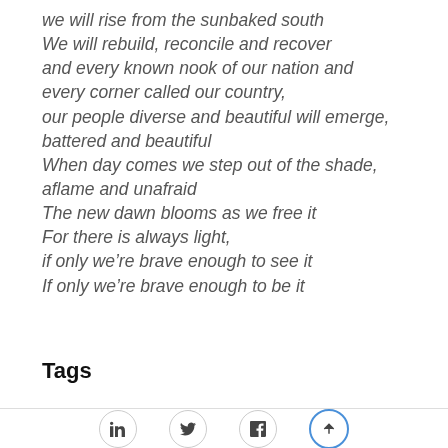we will rise from the sunbaked south
We will rebuild, reconcile and recover
and every known nook of our nation and
every corner called our country,
our people diverse and beautiful will emerge,
battered and beautiful
When day comes we step out of the shade,
aflame and unafraid
The new dawn blooms as we free it
For there is always light,
if only we’re brave enough to see it
If only we’re brave enough to be it
Tags